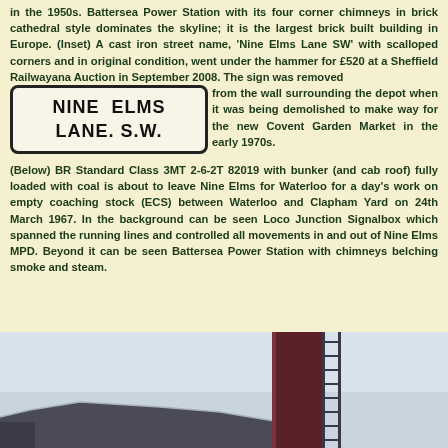in the 1950s. Battersea Power Station with its four corner chimneys in brick cathedral style dominates the skyline; it is the largest brick built building in Europe. (Inset) A cast iron street name, 'Nine Elms Lane SW' with scalloped corners and in original condition, went under the hammer for £520 at a Sheffield Railwayana Auction in September 2008. The sign was removed from the wall surrounding the depot when it was being demolished to make way for the new Covent Garden Market in the early 1970s. (Below) BR Standard Class 3MT 2-6-2T 82019 with bunker (and cab roof) fully loaded with coal is about to leave Nine Elms for Waterloo for a day's work on empty coaching stock (ECS) between Waterloo and Clapham Yard on 24th March 1967. In the background can be seen Loco Junction Signalbox which spanned the running lines and controlled all movements in and out of Nine Elms MPD. Beyond it can be seen Battersea Power Station with chimneys belching smoke and steam.
[Figure (photo): Cast iron street sign reading 'NINE ELMS LANE S.W.' with rounded rectangular border]
[Figure (photo): Partial view of a steam locomotive and tower/signal box structure with ladder, set against a pale grey sky]